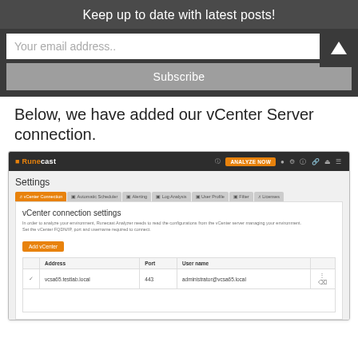Keep up to date with latest posts!
Your email address..
Subscribe
Below, we have added our vCenter Server connection.
[Figure (screenshot): Runecast Analyzer settings screenshot showing vCenter Connection tab with a vCenter connection entry: vcsa65.testlab.local, port 443, user administrator@vcsa65.local]